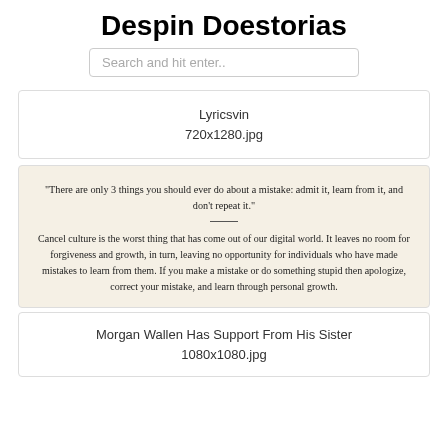Despin Doestorias
Search and hit enter..
Lyricsvin
720x1280.jpg
[Figure (screenshot): Quote image with text about mistakes and cancel culture on a light beige/cream background]
Morgan Wallen Has Support From His Sister
1080x1080.jpg